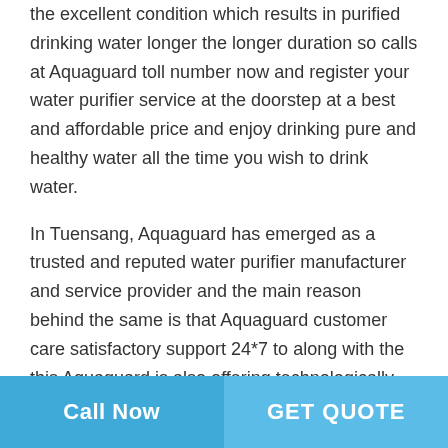the excellent condition which results in purified drinking water longer the longer duration so calls at Aquaguard toll number now and register your water purifier service at the doorstep at a best and affordable price and enjoy drinking pure and healthy water all the time you wish to drink water.
In Tuensang, Aquaguard has emerged as a trusted and reputed water purifier manufacturer and service provider and the main reason behind the same is that Aquaguard customer care satisfactory support 24*7 to along with the this Aquaguard is also offering technologically advance and modern water purifier so that Aquaguard is one of the best choice among the people living in Tuensang thus if you live in Tuensang then no other service provider in as good as Aquaguard for you because it also offer doorstep
Call Now | GET QUOTE